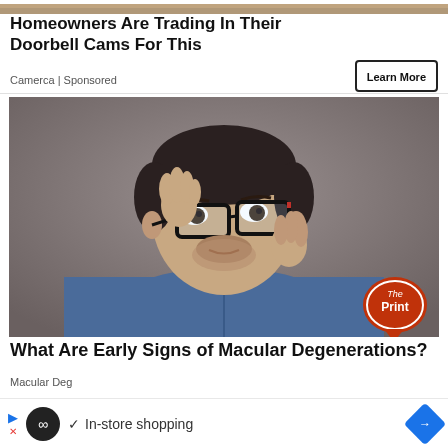[Figure (photo): Top strip of an image, partially visible at the very top of the page]
Homeowners Are Trading In Their Doorbell Cams For This
Camerca | Sponsored
[Figure (photo): Man in blue denim shirt adjusting black-framed glasses, looking at camera, studio photo with gray background. The Print logo visible in lower right corner.]
What Are Early Signs of Macular Degenerations?
Macular Deg
In-store shopping